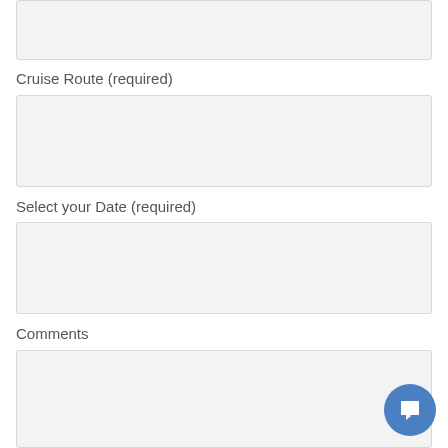[Figure (screenshot): Top portion of a web form input field (cropped at top)]
Cruise Route (required)
[Figure (screenshot): Dropdown/select input field with placeholder '---']
Select your Date (required)
[Figure (screenshot): Date input field with placeholder 'mm/dd/yyyy' and calendar icon]
Comments
[Figure (screenshot): Large textarea input field for comments]
[Figure (illustration): Blue circular chat/support button in bottom-right corner]